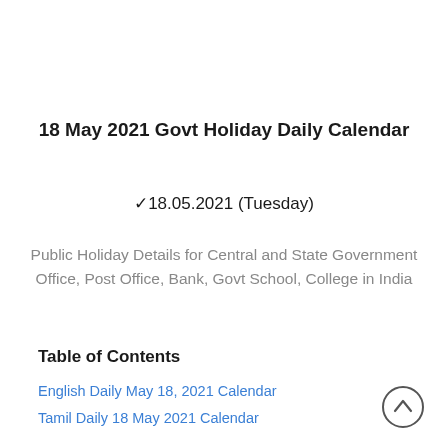18 May 2021 Govt Holiday Daily Calendar
✓18.05.2021 (Tuesday)
Public Holiday Details for Central and State Government Office, Post Office, Bank, Govt School, College in India
Table of Contents
English Daily May 18, 2021 Calendar
Tamil Daily 18 May 2021 Calendar